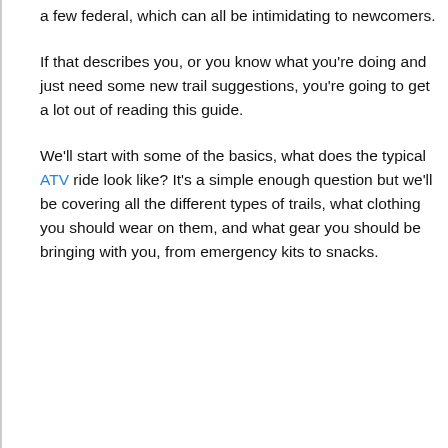a few federal, which can all be intimidating to newcomers.
If that describes you, or you know what you're doing and just need some new trail suggestions, you're going to get a lot out of reading this guide.
We'll start with some of the basics, what does the typical ATV ride look like? It's a simple enough question but we'll be covering all the different types of trails, what clothing you should wear on them, and what gear you should be bringing with you, from emergency kits to snacks.